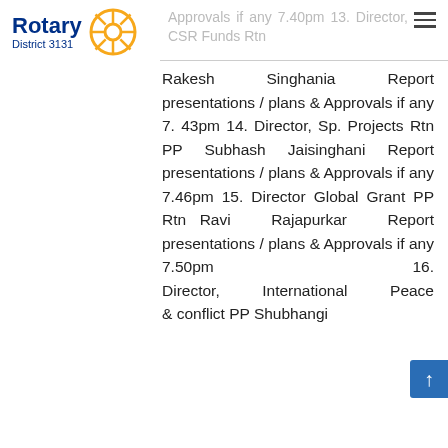Rotary District 3131 — Approvals if any 7.40pm 13. Director, CSR Funds Rtn
Rakesh Singhania Report presentations / plans & Approvals if any 7. 43pm 14. Director, Sp. Projects Rtn PP Subhash Jaisinghani Report presentations / plans & Approvals if any 7.46pm 15. Director Global Grant PP Rtn Ravi Rajapurkar Report presentations / plans & Approvals if any 7.50pm 16. Director, International Peace & conflict PP Shubhangi (continued)